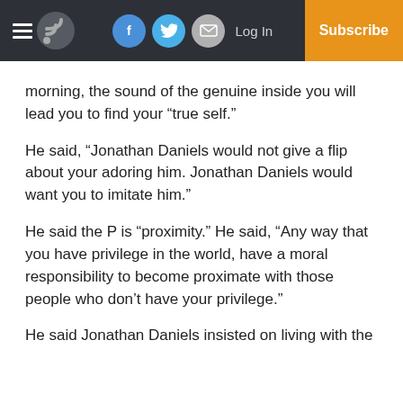Log In | Subscribe
morning, the sound of the genuine inside you will lead you to find your “true self.”
He said, “Jonathan Daniels would not give a flip about your adoring him. Jonathan Daniels would want you to imitate him.”
He said the P is “proximity.” He said, “Any way that you have privilege in the world, have a moral responsibility to become proximate with those people who don’t have your privilege.”
He said Jonathan Daniels insisted on living with the